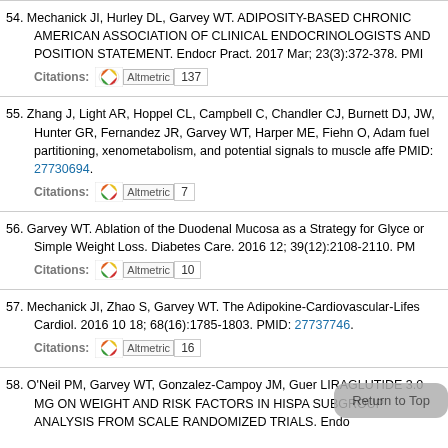54. Mechanick JI, Hurley DL, Garvey WT. ADIPOSITY-BASED CHRONIC AMERICAN ASSOCIATION OF CLINICAL ENDOCRINOLOGISTS AND POSITION STATEMENT. Endocr Pract. 2017 Mar; 23(3):372-378. PMI Citations: [Altmetric] 137
55. Zhang J, Light AR, Hoppel CL, Campbell C, Chandler CJ, Burnett DJ, JW, Hunter GR, Fernandez JR, Garvey WT, Harper ME, Fiehn O, Adam fuel partitioning, xenometabolism, and potential signals to muscle affe PMID: 27730694. Citations: [Altmetric] 7
56. Garvey WT. Ablation of the Duodenal Mucosa as a Strategy for Glyce or Simple Weight Loss. Diabetes Care. 2016 12; 39(12):2108-2110. P Citations: [Altmetric] 10
57. Mechanick JI, Zhao S, Garvey WT. The Adipokine-Cardiovascular-Lifes Cardiol. 2016 10 18; 68(16):1785-1803. PMID: 27737746. Citations: [Altmetric] 16
58. O'Neil PM, Garvey WT, Gonzalez-Campoy JM, Guer LIRAGLUTIDE 3.0 MG ON WEIGHT AND RISK FACTORS IN HISPA SUBGROUP ANALYSIS FROM SCALE RANDOMIZED TRIALS. Endo